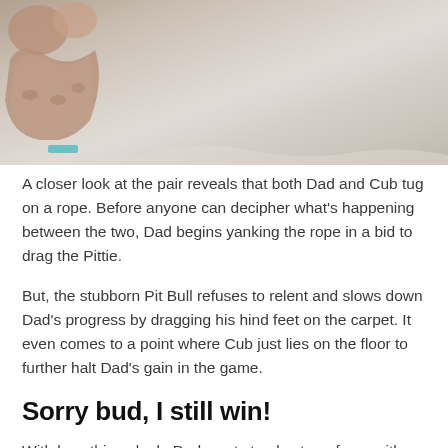[Figure (photo): Close-up photo of a dog's paw on a light-colored carpet, with a teal/blue rope visible at the bottom left]
A closer look at the pair reveals that both Dad and Cub tug on a rope. Before anyone can decipher what's happening between the two, Dad begins yanking the rope in a bid to drag the Pittie.
But, the stubborn Pit Bull refuses to relent and slows down Dad's progress by dragging his hind feet on the carpet. It even comes to a point where Cub just lies on the floor to further halt Dad's gain in the game.
Sorry bud, I still win!
With how things look, Dad wants to play tug-of-war with Cub. But, as the Pittie isn't in the mood to play, he simply banks on his body weight